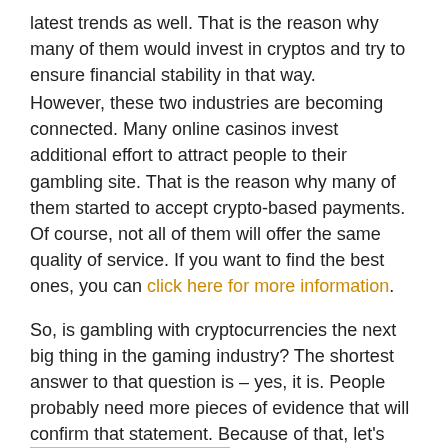latest trends as well. That is the reason why many of them would invest in cryptos and try to ensure financial stability in that way.
However, these two industries are becoming connected. Many online casinos invest additional effort to attract people to their gambling site. That is the reason why many of them started to accept crypto-based payments. Of course, not all of them will offer the same quality of service. If you want to find the best ones, you can click here for more information.
So, is gambling with cryptocurrencies the next big thing in the gaming industry? The shortest answer to that question is – yes, it is. People probably need more pieces of evidence that will confirm that statement. Because of that, let's find out why cryptocurrencies are a powerful gambling payment option.